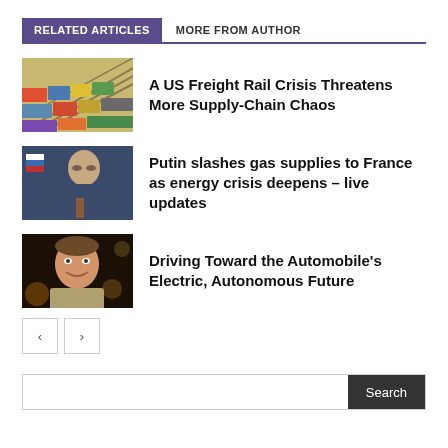RELATED ARTICLES | MORE FROM AUTHOR
[Figure (photo): Aerial view of colorful freight rail cars on parallel tracks]
A US Freight Rail Crisis Threatens More Supply-Chain Chaos
[Figure (photo): Vladimir Putin seated at a meeting with Russian flags in background]
Putin slashes gas supplies to France as energy crisis deepens – live updates
[Figure (photo): Smiling man portrait against dark bokeh background]
Driving Toward the Automobile's Electric, Autonomous Future